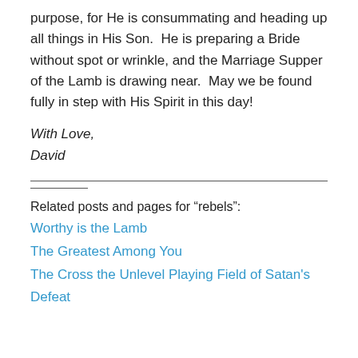purpose, for He is consummating and heading up all things in His Son.  He is preparing a Bride without spot or wrinkle, and the Marriage Supper of the Lamb is drawing near.  May we be found fully in step with His Spirit in this day!
With Love,
David
Related posts and pages for “rebels”:
Worthy is the Lamb
The Greatest Among You
The Cross the Unlevel Playing Field of Satan's Defeat